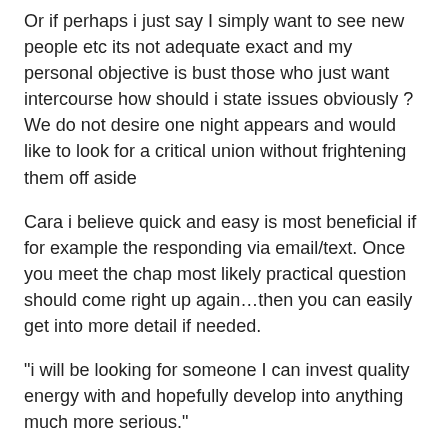Or if perhaps i just say I simply want to see new people etc its not adequate exact and my personal objective is bust those who just want intercourse how should i state issues obviously ? We do not desire one night appears and would like to look for a critical union without frightening them off aside
Cara i believe quick and easy is most beneficial if for example the responding via email/text. Once you meet the chap most likely practical question should come right up again…then you can easily get into more detail if needed.
“i will be looking for someone I can invest quality energy with and hopefully develop into anything much more serious.”
“I am seeking an individual who shares the exact same passions I do and wants comparable issues from life…like a serious relationship.”